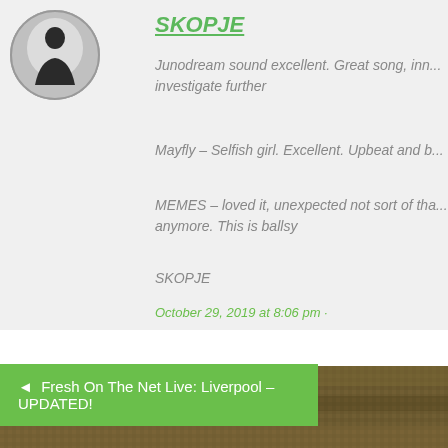[Figure (photo): Circular avatar photo of a person silhouette against a bright background, black and white]
SKOPJE
Junodream sound excellent. Great song, inn... investigate further
Mayfly – Selfish girl. Excellent. Upbeat and b...
MEMES – loved it, unexpected not sort of tha... anymore. This is ballsy
SKOPJE
October 29, 2019 at 8:06 pm ·
Comments are now closed for
◄  Fresh On The Net Live: Liverpool – UPDATED!